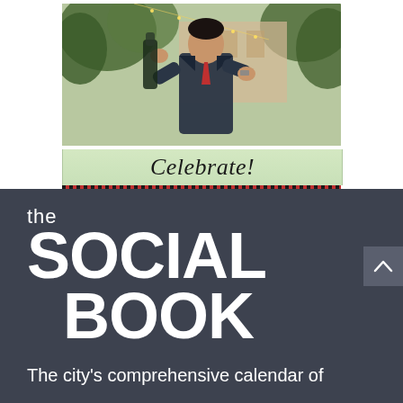[Figure (photo): Advertisement photo showing a man in a dark suit with red tie pouring champagne or similar, set against outdoor greenery and warm building tones. Below the photo is a light green banner with 'Celebrate!' in script font, and a checkered strip at the bottom.]
the SOCIAL BOOK
The city's comprehensive calendar of